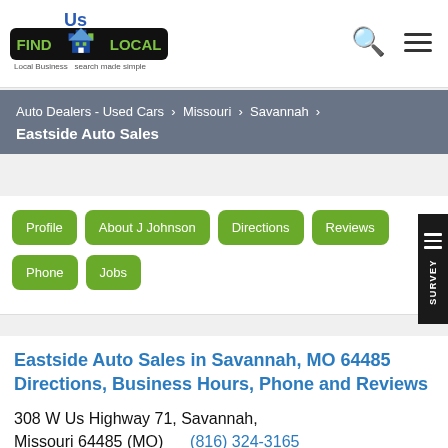[Figure (logo): Find Us Local logo with green building icon, 'FIND LOCAL' banner on black background, tagline 'Local Business search made simple']
Auto Dealers - Used Cars > Missouri > Savannah > Eastside Auto Sales
Profile
About J Johnson
Directions
Reviews
Phone
Jobs
Eastside Auto Sales in Savannah, MO 64485 Directions, Business Hours, Phone and Reviews
308 W Us Highway 71, Savannah, Missouri 64485 (MO)  (816) 324-3165
View All Records For This Phone #